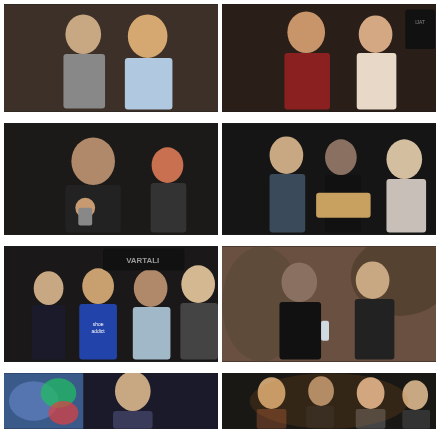[Figure (photo): A woman and a man posing together at an indoor event, woman in patterned top, man in light blue shirt holding a drink]
[Figure (photo): A man in a dark red shirt and a woman in a light outfit posing together, with a sign partially visible in the background]
[Figure (photo): An older man in a black sweater eating/drinking at a party, a woman with red hair in the background]
[Figure (photo): A young man with glasses talking to two women, one holding a tray of food, at an indoor event]
[Figure (photo): Four people posing together in front of a Vartali salon sign, including two younger women, an older man, and a blonde woman]
[Figure (photo): Two women in black outfits posing together, one holding a drink, in front of an artistic background]
[Figure (photo): A man seated near colorful artwork, partial view at bottom of page]
[Figure (photo): Group of people at an indoor gathering, partial view at bottom of page]